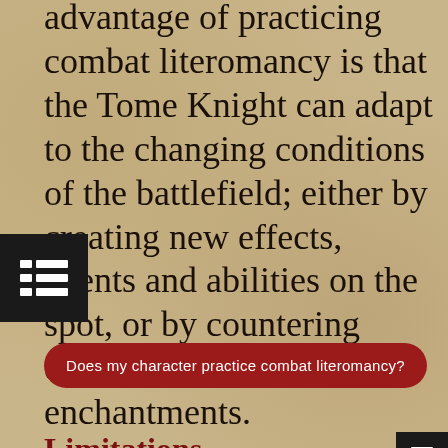advantage of practicing combat literomancy is that the Tome Knight can adapt to the changing conditions of the battlefield; either by creating new effects, events and abilities on the spot, or by countering other literomantic enchantments.
Does my character practice combat literomancy?
Limitations
And guys? Be careful! The tropes of